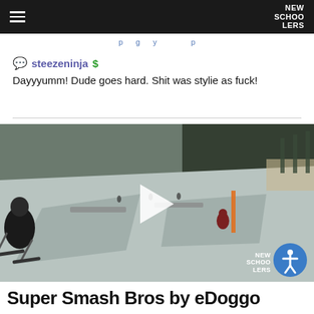NEW SCHOOLERS
steezeninja $ Dayyyumm! Dude goes hard. Shit was stylie as fuck!
[Figure (screenshot): Video thumbnail of a ski slope terrain park with a skier on the left side, trees in the background, and a white play button in the center. New Schoolers logo and accessibility icon visible in the bottom right corner.]
Super Smash Bros by eDoggo